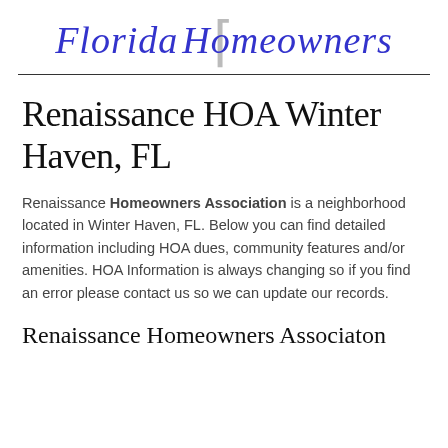[Figure (logo): Florida Homeowners logo with stylized italic blue script text 'Florida Homeowners' and a gray bracket/F letterform overlay in the center]
Renaissance HOA Winter Haven, FL
Renaissance Homeowners Association is a neighborhood located in Winter Haven, FL. Below you can find detailed information including HOA dues, community features and/or amenities. HOA Information is always changing so if you find an error please contact us so we can update our records.
Renaissance Homeowners Associaton